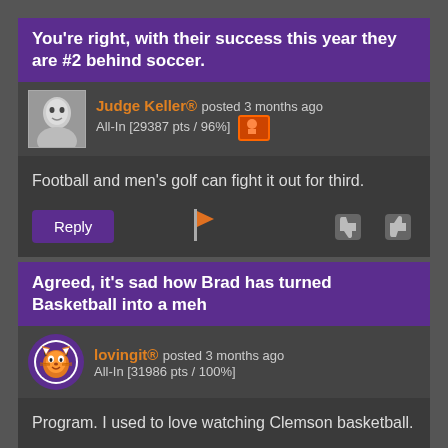You’re right, with their success this year they are #2 behind soccer.
Judge Keller® posted 3 months ago All-In [29387 pts / 96%]
Football and men’s golf can fight it out for third.
Reply
Agreed, it’s sad how Brad has turned Basketball into a meh
lovingit® posted 3 months ago All-In [31986 pts / 100%]
Program. I used to love watching Clemson basketball.
Reply